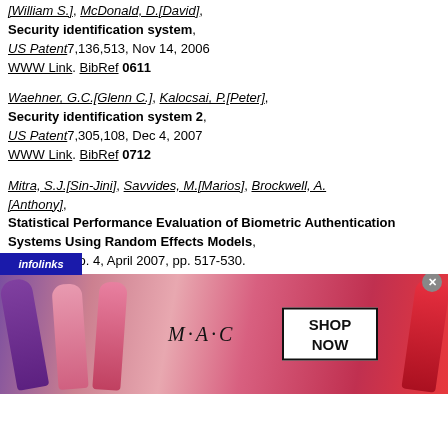[William S.], McDonald, D.[David], Security identification system, US Patent 7,136,513, Nov 14, 2006 WWW Link. BibRef 0611
Waehner, G.C.[Glenn C.], Kalocsai, P.[Peter], Security identification system 2, US Patent 7,305,108, Dec 4, 2007 WWW Link. BibRef 0712
Mitra, S.J.[Sin-Jini], Savvides, M.[Marios], Brockwell, A.[Anthony], Statistical Performance Evaluation of Biometric Authentication Systems Using Random Effects Models, PAMI(29), No. 4, April 2007, pp. 517-530. IEEE DOI 0703 BibRef And: Correction: PAMI(29), No. 9, September 2007.
[Figure (photo): Advertisement banner for M·A·C cosmetics showing lipsticks and a 'SHOP NOW' call to action box, with an infolinks overlay bar and a close button.]